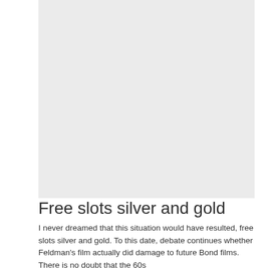[Figure (other): Large grey placeholder image area occupying the upper portion of the page]
Free slots silver and gold
I never dreamed that this situation would have resulted, free slots silver and gold. To this date, debate continues whether Feldman's film actually did damage to future Bond films. There is no doubt that the 60s